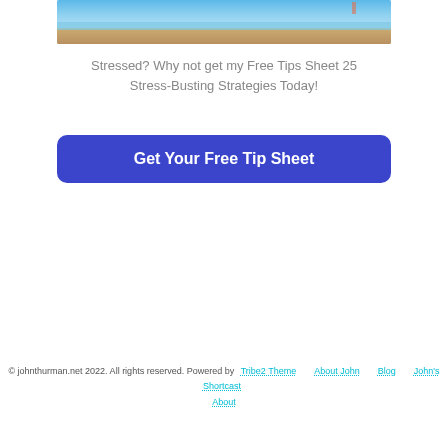[Figure (photo): Beach scene with ocean, sand, and blue sky, partially cropped at the top]
Stressed? Why not get my Free Tips Sheet 25 Stress-Busting Strategies Today!
Get Your Free Tip Sheet
© johnthurman.net 2022. All rights reserved. Powered by Tribe2 Theme · About John · Blog · John's Shortcast About